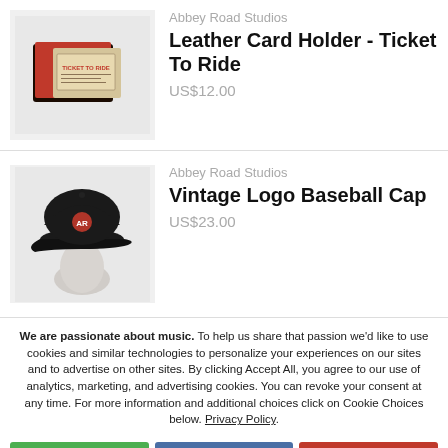[Figure (photo): Leather card holder open showing a Ticket To Ride ticket card inside, with red cover]
Abbey Road Studios
Leather Card Holder - Ticket To Ride
US$12.00
[Figure (photo): Black vintage logo baseball cap on a mannequin head with red embroidered logo]
Abbey Road Studios
Vintage Logo Baseball Cap
US$23.00
We are passionate about music. To help us share that passion we'd like to use cookies and similar technologies to personalize your experiences on our sites and to advertise on other sites. By clicking Accept All, you agree to our use of analytics, marketing, and advertising cookies. You can revoke your consent at any time. For more information and additional choices click on Cookie Choices below. Privacy Policy.
Accept All
Cookie Choices
Decline All